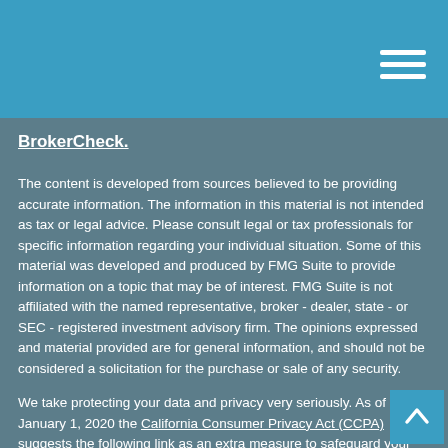BrokerCheck.
The content is developed from sources believed to be providing accurate information. The information in this material is not intended as tax or legal advice. Please consult legal or tax professionals for specific information regarding your individual situation. Some of this material was developed and produced by FMG Suite to provide information on a topic that may be of interest. FMG Suite is not affiliated with the named representative, broker - dealer, state - or SEC - registered investment advisory firm. The opinions expressed and material provided are for general information, and should not be considered a solicitation for the purchase or sale of any security.
We take protecting your data and privacy very seriously. As of January 1, 2020 the California Consumer Privacy Act (CCPA) suggests the following link as an extra measure to safeguard your data: Do not sell my personal information.